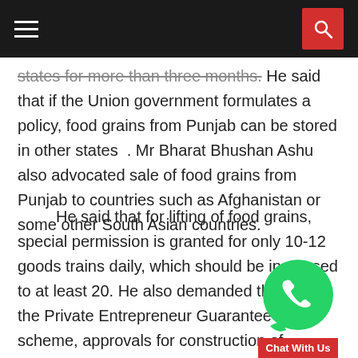Navigation bar with hamburger menu and search button
states for more than three months. He said that if the Union government formulates a policy, food grains from Punjab can be stored in other states . Mr Bharat Bhushan Ashu also advocated sale of food grains from Punjab to countries such as Afghanistan or some other South Asian countries.
He said that for lifting of food grains, special permission is granted for only 10-12 goods trains daily, which should be increased to at least 20. He also demanded that under the Private Entrepreneur Guarantee (PEG) scheme, approvals for construction of godowns with at least 20 lakh metric tonn capacity should be granted.
[Figure (illustration): WhatsApp Chat With Us widget with green phone bubble and red Chat With Us label]